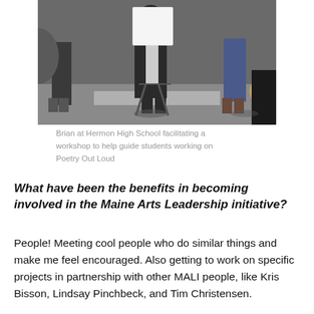[Figure (photo): Photo of Brian at Hermon High School facilitating a workshop, showing several people standing around a whiteboard/easel in a classroom setting.]
Brian at Hermon High School facilitating a workshop to help guide students working on Poetry Out Loud
What have been the benefits in becoming involved in the Maine Arts Leadership initiative?
People! Meeting cool people who do similar things and make me feel encouraged. Also getting to work on specific projects in partnership with other MALI people, like Kris Bisson, Lindsay Pinchbeck, and Tim Christensen.